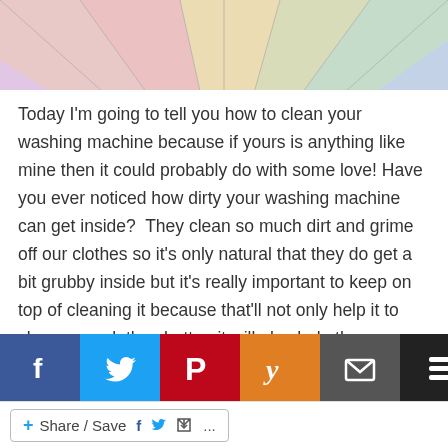[Figure (illustration): Cropped top portion of a colourful radial/ray diagram image with pastel coloured sections (red, yellow, green, blue, purple) and faint lines converging toward a centre point.]
Today I'm going to tell you how to clean your washing machine because if yours is anything like mine then it could probably do with some love! Have you ever noticed how dirty your washing machine can get inside?  They clean so much dirt and grime off our clothes so it's only natural that they do get a bit grubby inside but it's really important to keep on top of cleaning it because that'll not only help it to clean your clothes better, it will also help the machine itself last longer. I'm much better at cleaning mine now than [social icons overlay] ...washing machine...
[Figure (screenshot): Social sharing bar with icons: Facebook (blue f), Twitter (blue bird), Pinterest (red P), Yummly (orange Y), Email (grey envelope), Buffer (black layers), Messenger (blue chat bubble), Reddit (orange alien). Behind them partial text continues.]
[Figure (screenshot): Share/Save bar at bottom with a button showing a blue plus icon, text 'Share / Save', Facebook icon, Twitter bird icon, and ellipsis '...']